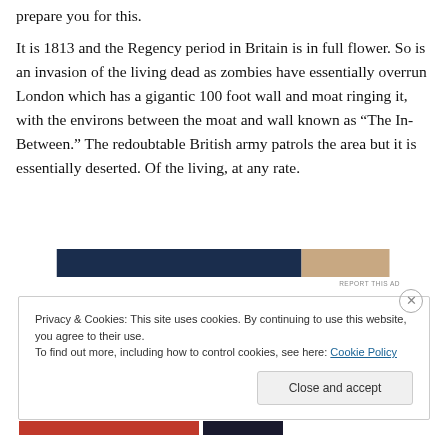prepare you for this.
It is 1813 and the Regency period in Britain is in full flower. So is an invasion of the living dead as zombies have essentially overrun London which has a gigantic 100 foot wall and moat ringing it, with the environs between the moat and wall known as “The In-Between.” The redoubtable British army patrols the area but it is essentially deserted. Of the living, at any rate.
[Figure (other): Advertisement banner strip: dark navy blue bar on the left and a skin-tone/photo strip on the right with 'REPORT THIS AD' label below]
Privacy & Cookies: This site uses cookies. By continuing to use this website, you agree to their use.
To find out more, including how to control cookies, see here: Cookie Policy
Close and accept